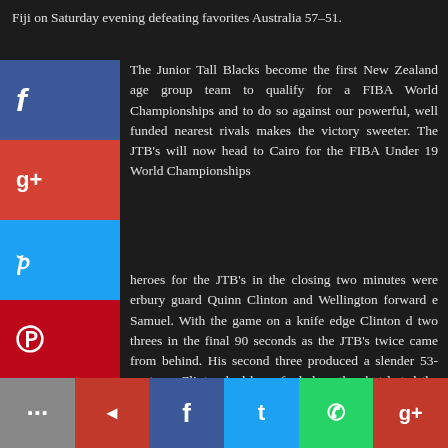Fiji on Saturday evening defeating favorites Australia 57–51.
The Junior Tall Blacks become the first New Zealand age group team to qualify for a FIBA World Championships and to do so against our powerful, well funded nearest rivals makes the victory sweeter. The JTB's will now head to Cairo for the FIBA Under 19 World Championships
heroes for the JTB's in the closing two minutes were erbury guard Quinn Clinton and Wellington forward e Samuel. With the game on a knife edge Clinton d two threes in the final 90 seconds as the JTB's twice came from behind. His second three produced a slender 53- vantage. Clinton had been fouled on the shot but d the resulting freebie only for Samuel to score on a ack.
[Figure (infographic): Social media sharing sidebar with Facebook (blue), Google+ (red), Twitter (blue), Pinterest (red), Blogger (orange) buttons on the left side]
[Figure (infographic): Bottom social sharing bar with ellipsis/more, Kik (red), Facebook (blue), Twitter (light blue), WhatsApp (green), Google+ (red) buttons]